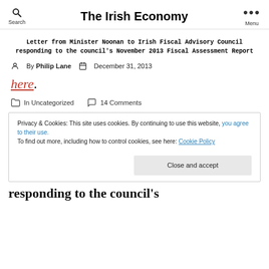The Irish Economy
Letter from Minister Noonan to Irish Fiscal Advisory Council responding to the council's November 2013 Fiscal Assessment Report
By Philip Lane   December 31, 2013
here.
In Uncategorized   14 Comments
Privacy & Cookies: This site uses cookies. By continuing to use this website, you agree to their use.
To find out more, including how to control cookies, see here: Cookie Policy
Close and accept
responding to the council's